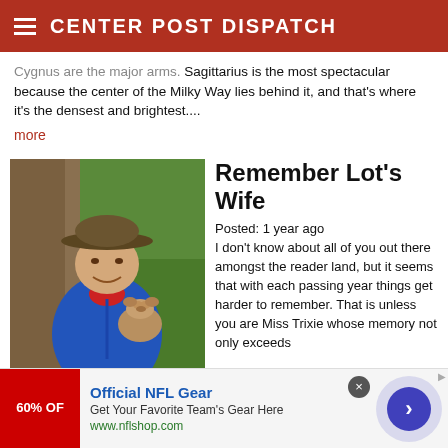CENTER POST DISPATCH
Cygnus are the major arms. Sagittarius is the most spectacular because the center of the Milky Way lies behind it, and that's where it's the densest and brightest....
more
[Figure (photo): Man wearing a brown hat and blue jacket, holding a small dog, standing outdoors near a tree]
Remember Lot's Wife
Posted: 1 year ago
I don't know about all of you out there amongst the reader land, but it seems that with each passing year things get harder to remember. That is unless you are Miss Trixie whose memory not only exceeds
[Figure (infographic): Advertisement banner: Official NFL Gear - Get Your Favorite Team's Gear Here - www.nflshop.com, with 60% OFF red image and arrow button]